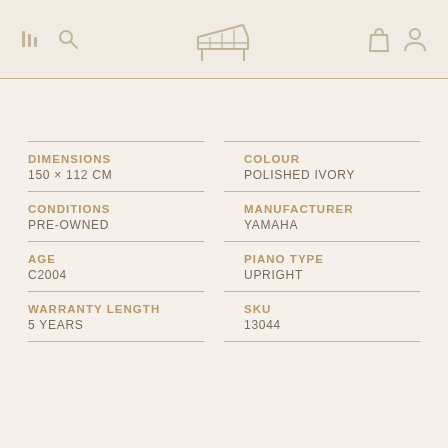[Figure (screenshot): Website navigation header with menu bars icon, search icon, grand piano/lid icon in center, shopping bag icon, and user profile icon]
| DIMENSIONS | COLOUR |
| 150 × 112 CM | POLISHED IVORY |
| CONDITIONS | MANUFACTURER |
| PRE-OWNED | YAMAHA |
| AGE | PIANO TYPE |
| C2004 | UPRIGHT |
| WARRANTY LENGTH | SKU |
| 5 YEARS | 13044 |